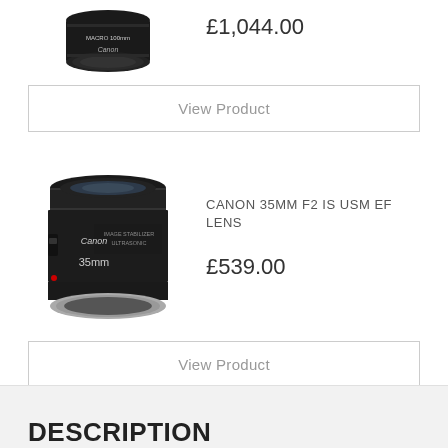£1,044.00
View Product
CANON 35MM F2 IS USM EF LENS
[Figure (photo): Canon 35mm f2 IS USM EF lens, black, front-side view]
£539.00
View Product
DESCRIPTION